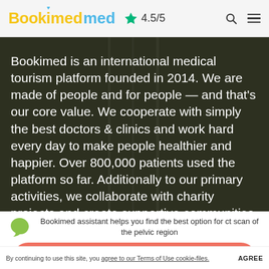Bookimed ★ 4.5/5
Bookimed is an international medical tourism platform founded in 2014. We are made of people and for people — and that's our core value. We cooperate with simply the best doctors & clinics and work hard every day to make people healthier and happier. Over 800,000 patients used the platform so far. Additionally to our primary activities, we collaborate with charity projects and create supportive communities. Our main office is in Kyiv, Ukraine, still, we're online 24/7 wherever you are.
Bookimed assistant helps you find the best option for ct scan of the pelvic region
FIND THE CLINIC
By continuing to use this site, you agree to our Terms of Use cookie-files. AGREE